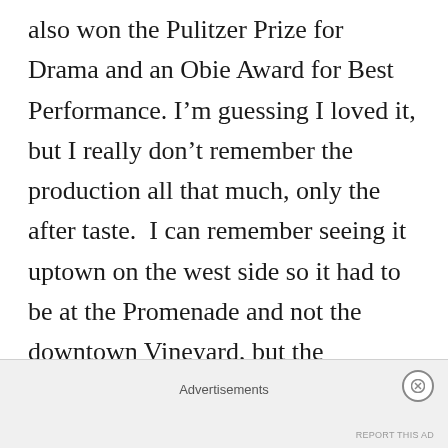also won the Pulitzer Prize for Drama and an Obie Award for Best Performance. I'm guessing I loved it, but I really don't remember the production all that much, only the after taste.  I can remember seeing it uptown on the west side so it had to be at the Promenade and not the downtown Vineyard, but the storyline has faded from my memory.  So I was particularly thrilled to have a chance to see this well-regarded play once again with a cast made in acting heaven.
Advertisements